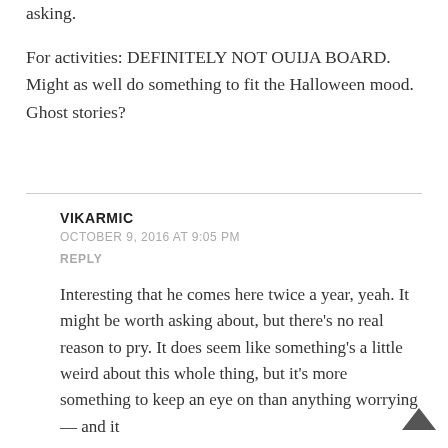asking.
For activities: DEFINITELY NOT OUIJA BOARD. Might as well do something to fit the Halloween mood. Ghost stories?
VIKARMIC
OCTOBER 9, 2016 AT 9:05 PM
REPLY
Interesting that he comes here twice a year, yeah. It might be worth asking about, but there’s no real reason to pry. It does seem like something’s a little weird about this whole thing, but it’s more something to keep an eye on than anything worrying — and it